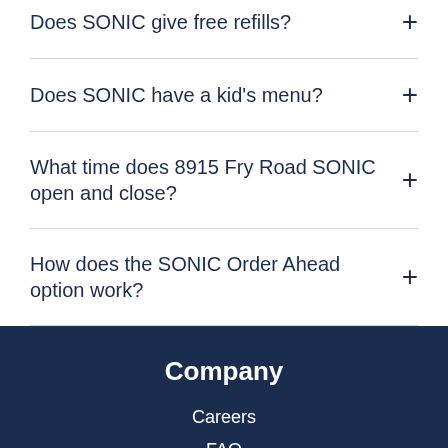Does SONIC give free refills?
Does SONIC have a kid's menu?
What time does 8915 Fry Road SONIC open and close?
How does the SONIC Order Ahead option work?
Company
Careers
FAQ
Contact Us
Franchise
Corporate
Press